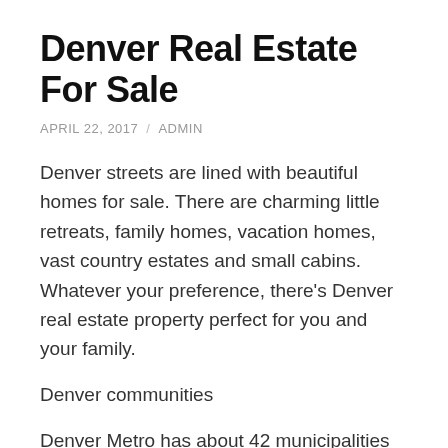Denver Real Estate For Sale
APRIL 22, 2017  /  ADMIN
Denver streets are lined with beautiful homes for sale. There are charming little retreats, family homes, vacation homes, vast country estates and small cabins. Whatever your preference, there's Denver real estate property perfect for you and your family.
Denver communities
Denver Metro has about 42 municipalities and 7 counties with several neighboring mountain and valley districts. Each of these areas offers a unique living experience. The city of Denver has more than twenty exceptional